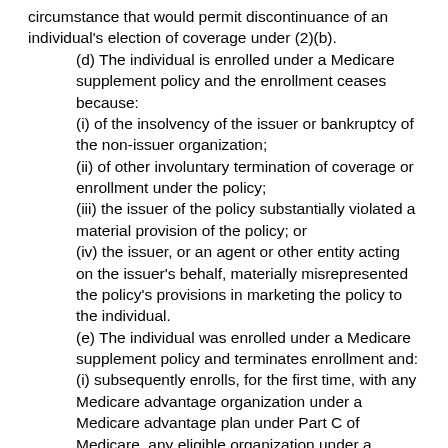circumstance that would permit discontinuance of an individual's election of coverage under (2)(b).
(d) The individual is enrolled under a Medicare supplement policy and the enrollment ceases because:
(i) of the insolvency of the issuer or bankruptcy of the non-issuer organization;
(ii) of other involuntary termination of coverage or enrollment under the policy;
(iii) the issuer of the policy substantially violated a material provision of the policy; or
(iv) the issuer, or an agent or other entity acting on the issuer's behalf, materially misrepresented the policy's provisions in marketing the policy to the individual.
(e) The individual was enrolled under a Medicare supplement policy and terminates enrollment and:
(i) subsequently enrolls, for the first time, with any Medicare advantage organization under a Medicare advantage plan under Part C of Medicare, any eligible organization under a contract under section 1876 of the Social Security Act (Medicare risk or cost), any similar organization operating under demonstration project authority, any PACE provider under section 1894 of the Social Security Act, an organization under